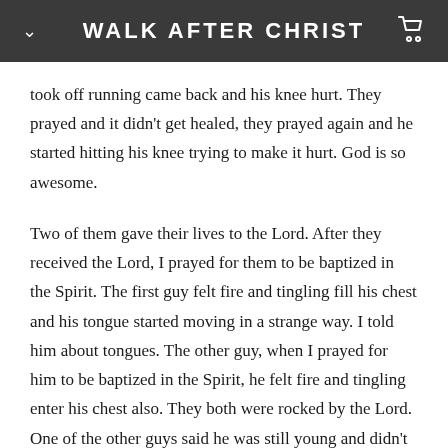WALK AFTER CHRIST
took off running came back and his knee hurt. They prayed and it didn't get healed, they prayed again and he started hitting his knee trying to make it hurt. God is so awesome.
Two of them gave their lives to the Lord. After they received the Lord, I prayed for them to be baptized in the Spirit. The first guy felt fire and tingling fill his chest and his tongue started moving in a strange way. I told him about tongues. The other guy, when I prayed for him to be baptized in the Spirit, he felt fire and tingling enter his chest also. They both were rocked by the Lord. One of the other guys said he was still young and didn't want to make a commitment, but he let me pray for him.